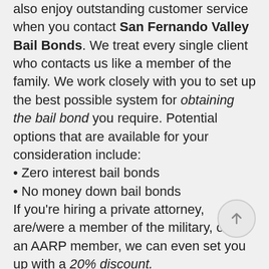also enjoy outstanding customer service when you contact San Fernando Valley Bail Bonds. We treat every single client who contacts us like a member of the family. We work closely with you to set up the best possible system for obtaining the bail bond you require. Potential options that are available for your consideration include:
• Zero interest bail bonds
• No money down bail bonds
If you're hiring a private attorney, are/were a member of the military, or are an AARP member, we can even set you up with a 20% discount.
The best time to contact San Fernando Valley Bail Bonds is right now. When you do, you'll enjoy: